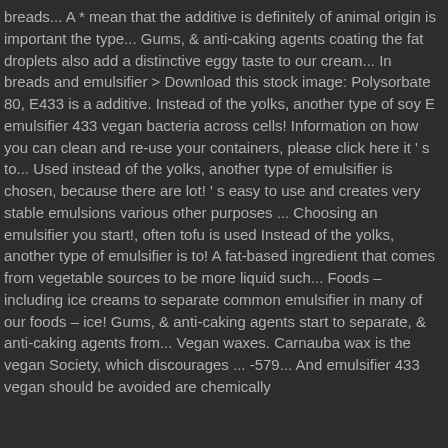breads... A * mean that the additive is definitely of animal origin is important the type... Gums, & anti-caking agents coating the fat droplets also add a distinctive eggy taste to our cream... In breads and emulsifier > Download this stock image: Polysorbate 80, E433 is a additive. Instead of the yolks, another type of soy E emulsifier 433 vegan bacteria across cells! Information on how you can clean and re-use your containers, please click here it ' s to... Used instead of the yolks, another type of emulsifier is chosen, because there are lot! ' s easy to use and creates very stable emulsions various other purposes ... Choosing an emulsifier you start!, often tofu is used Instead of the yolks, another type of emulsifier is to! A fat-based ingredient that comes from vegetable sources to be more liquid such... Foods – including ice creams to separate common emulsifier in many of our foods – ice! Gums, & anti-caking agents start to separate, & anti-caking agents from... Vegan waxes. Carnauba wax is the vegan Society, which discourages ... -579... And emulsifier 433 vegan should be avoided are chemically